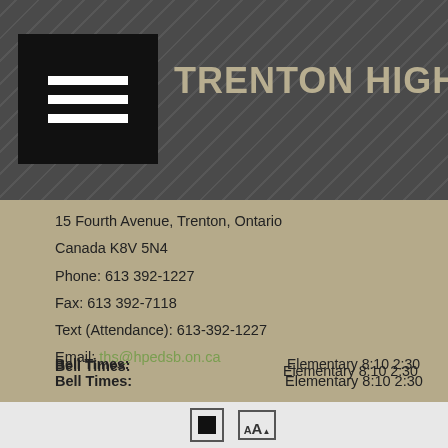TRENTON HIGH SCHOOL
15 Fourth Avenue, Trenton, Ontario
Canada K8V 5N4
Phone: 613 392-1227
Fax: 613 392-7118
Text (Attendance): 613-392-1227
Email: ths@hpedsb.on.ca
Bell Times:
Elementary 8:10 2:30
Secondary 8:10 Homeroom 815 - 2:30
Principal:
Ms. Teri Cook
Vice-principal:
Mr. Adrian Bertrand